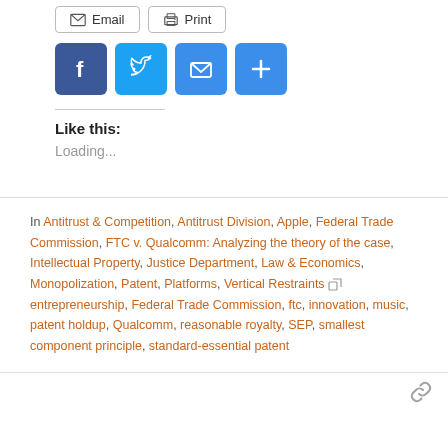[Figure (screenshot): Email and Print buttons with envelope and printer icons, followed by social sharing icons (Facebook, Twitter, Email, Add/Plus) as colored squares]
Like this:
Loading...
In Antitrust & Competition, Antitrust Division, Apple, Federal Trade Commission, FTC v. Qualcomm: Analyzing the theory of the case, Intellectual Property, Justice Department, Law & Economics, Monopolization, Patent, Platforms, Vertical Restraints entrepreneurship, Federal Trade Commission, ftc, innovation, music, patent holdup, Qualcomm, reasonable royalty, SEP, smallest component principle, standard-essential patent